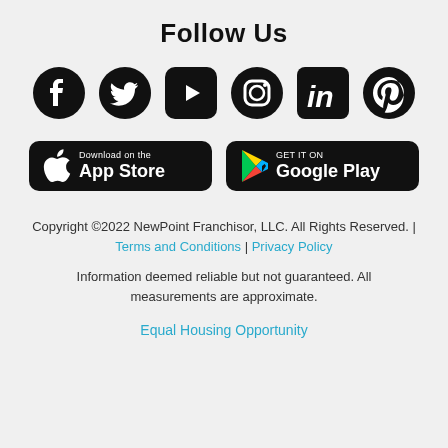Follow Us
[Figure (logo): Row of social media icons: Facebook, Twitter, YouTube, Instagram, LinkedIn, Pinterest]
[Figure (logo): App store download buttons: Download on the App Store and Get it on Google Play]
Copyright ©2022 NewPoint Franchisor, LLC. All Rights Reserved. | Terms and Conditions | Privacy Policy
Information deemed reliable but not guaranteed. All measurements are approximate.
Equal Housing Opportunity